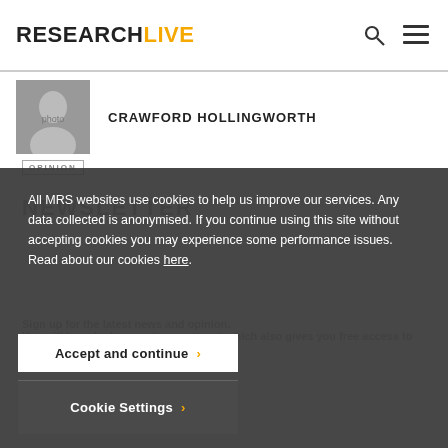RESEARCHLIVE
[Figure (photo): Black and white profile photo of Crawford Hollingworth]
CRAWFORD HOLLINGWORTH
NEWSLETTER
All MRS websites use cookies to help us improve our services. Any data collected is anonymised. If you continue using this site without accepting cookies you may experience some performance issues. Read about our cookies here.
Sign up for the latest news and opinion.
You will be asked to create an account which also gives you free access to premium Impact content.
Accept and continue
Cookie Settings
DAILY BOTH